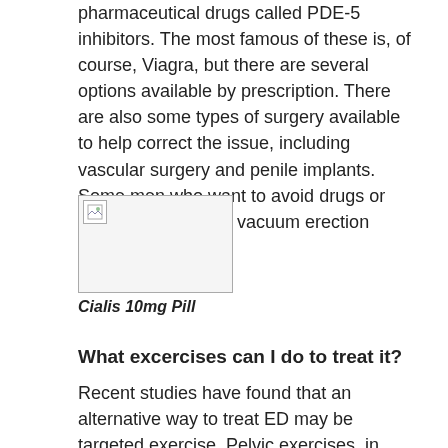pharmaceutical drugs called PDE-5 inhibitors. The most famous of these is, of course, Viagra, but there are several options available by prescription. There are also some types of surgery available to help correct the issue, including vascular surgery and penile implants. Some men who want to avoid drugs or surgery also turn to vacuum erection devices.
[Figure (photo): Broken/missing image placeholder representing a Cialis 10mg Pill]
Cialis 10mg Pill
What excercises can I do to treat it?
Recent studies have found that an alternative way to treat ED may be targeted exercise. Pelvic exercises, in particular, showed to help 40% of men with ED in a particular study regain normal erectile function. Pelvic exercises are commonly referred to as Kegels for women, but they have proven to be beneficial for men as well. The muscle being worked during these exercises is called the bulbocavernosus muscle, which is what pumps blood